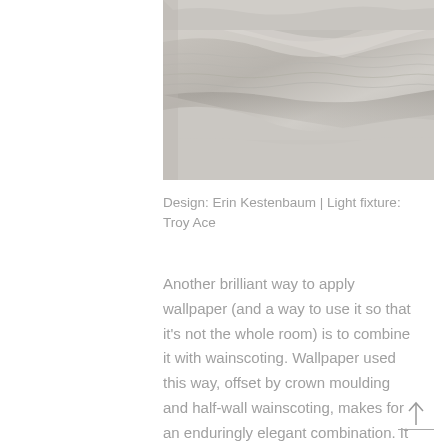[Figure (photo): Close-up photograph of folded grey/beige knitted or woven fabric/blanket with textured surface]
Design: Erin Kestenbaum | Light fixture: Troy Ace
Another brilliant way to apply wallpaper (and a way to use it so that it's not the whole room) is to combine it with wainscoting. Wallpaper used this way, offset by crown moulding and half-wall wainscoting, makes for an enduringly elegant combination. It also offer possibilities for engaging color combinations. You could tie the color of the wainscoting and moulding into the wallpaper or